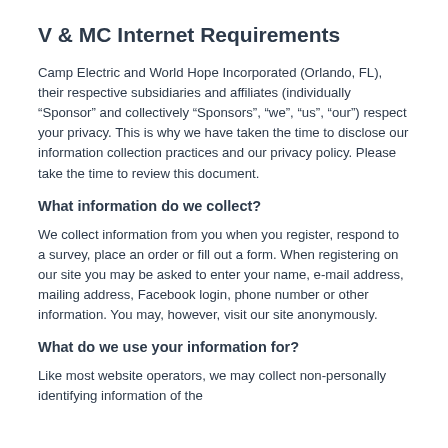V & MC Internet Requirements
Camp Electric and World Hope Incorporated (Orlando, FL), their respective subsidiaries and affiliates (individually “Sponsor” and collectively “Sponsors”, “we”, “us”, “our”) respect your privacy. This is why we have taken the time to disclose our information collection practices and our privacy policy. Please take the time to review this document.
What information do we collect?
We collect information from you when you register, respond to a survey, place an order or fill out a form. When registering on our site you may be asked to enter your name, e-mail address, mailing address, Facebook login, phone number or other information. You may, however, visit our site anonymously.
What do we use your information for?
Like most website operators, we may collect non-personally identifying information of the